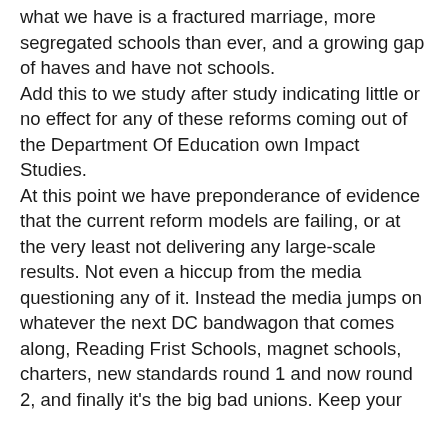what we have is a fractured marriage, more segregated schools than ever, and a growing gap of haves and have not schools. Add this to we study after study indicating little or no effect for any of these reforms coming out of the Department Of Education own Impact Studies. At this point we have preponderance of evidence that the current reform models are failing, or at the very least not delivering any large-scale results. Not even a hiccup from the media questioning any of it. Instead the media jumps on whatever the next DC bandwagon that comes along, Reading Frist Schools, magnet schools, charters, new standards round 1 and now round 2, and finally it's the big bad unions. Keep your